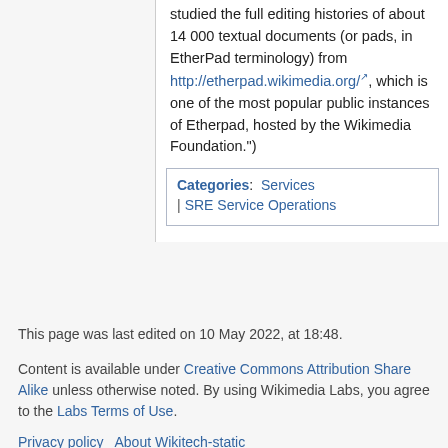studied the full editing histories of about 14 000 textual documents (or pads, in EtherPad terminology) from http://etherpad.wikimedia.org/, which is one of the most popular public instances of Etherpad, hosted by the Wikimedia Foundation.")
Categories: Services | SRE Service Operations
This page was last edited on 10 May 2022, at 18:48.
Content is available under Creative Commons Attribution Share Alike unless otherwise noted. By using Wikimedia Labs, you agree to the Labs Terms of Use.
Privacy policy   About Wikitech-static
Disclaimers